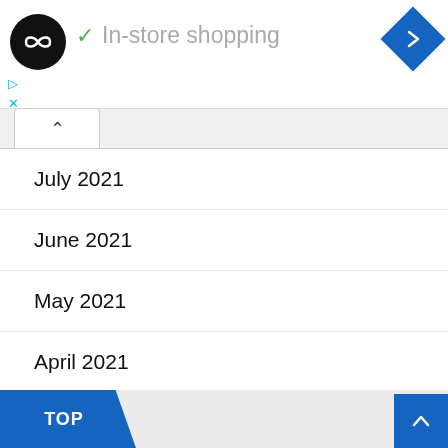[Figure (screenshot): App logo: black circle with infinity/arrows icon]
✓ In-store shopping
[Figure (logo): Blue navigation diamond with right-turn arrow]
July 2021
June 2021
May 2021
April 2021
March 2021
TOP